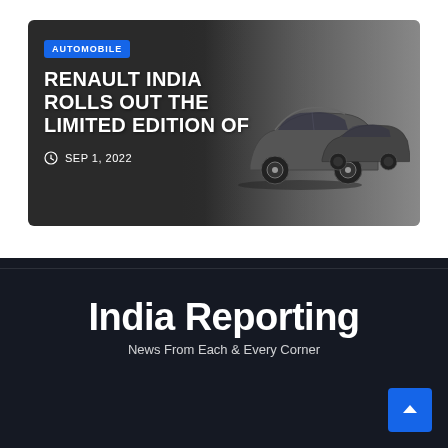[Figure (photo): Card with dark gradient background showing SUV cars on the right side, with AUTOMOBILE badge, headline text, and date. Renault India cars displayed.]
RENAULT INDIA ROLLS OUT THE LIMITED EDITION OF
SEP 1, 2022
India Reporting
News From Each & Every Corner